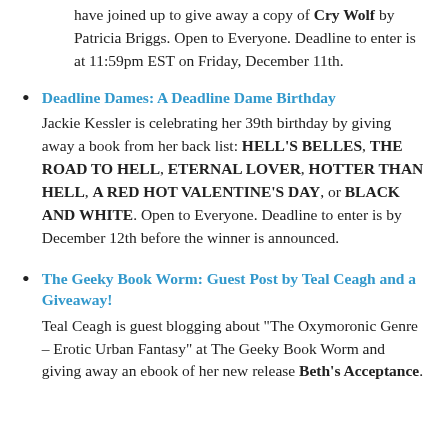have joined up to give away a copy of Cry Wolf by Patricia Briggs. Open to Everyone. Deadline to enter is at 11:59pm EST on Friday, December 11th.
Deadline Dames: A Deadline Dame Birthday
Jackie Kessler is celebrating her 39th birthday by giving away a book from her back list: HELL'S BELLES, THE ROAD TO HELL, ETERNAL LOVER, HOTTER THAN HELL, A RED HOT VALENTINE'S DAY, or BLACK AND WHITE. Open to Everyone. Deadline to enter is by December 12th before the winner is announced.
The Geeky Book Worm: Guest Post by Teal Ceagh and a Giveaway!
Teal Ceagh is guest blogging about "The Oxymoronic Genre – Erotic Urban Fantasy" at The Geeky Book Worm and giving away an ebook of her new release Beth's Acceptance.